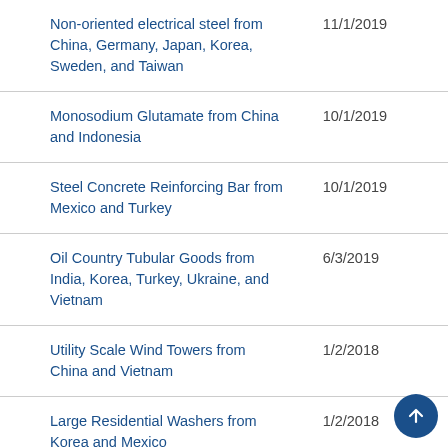| Product | Date |
| --- | --- |
| Non-oriented electrical steel from China, Germany, Japan, Korea, Sweden, and Taiwan | 11/1/2019 |
| Monosodium Glutamate from China and Indonesia | 10/1/2019 |
| Steel Concrete Reinforcing Bar from Mexico and Turkey | 10/1/2019 |
| Oil Country Tubular Goods from India, Korea, Turkey, Ukraine, and Vietnam | 6/3/2019 |
| Utility Scale Wind Towers from China and Vietnam | 1/2/2018 |
| Large Residential Washers from Korea and Mexico | 1/2/2018 |